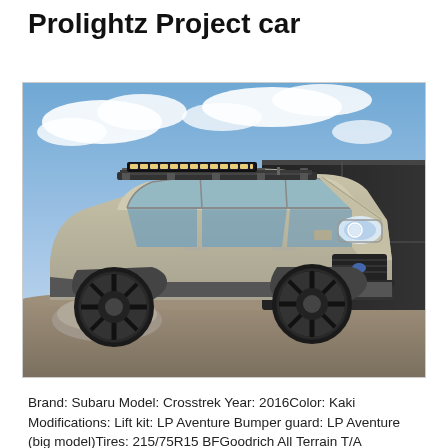Prolightz Project car
[Figure (photo): A modified Subaru Crosstrek in Kaki color, lifted and fitted with off-road tires, black wheels, roof rack with LED light bar, LP Aventure front bumper guard, and LED light bar on the front bumper. A black trailer with the Prolightz logo is visible in the background.]
Brand: Subaru Model: Crosstrek Year: 2016Color: Kaki Modifications: Lift kit: LP Aventure Bumper guard: LP Aventure (big model)Tires: 215/75R15 BFGoodrich All Terrain T/A KO2Wheels: Method Racing Wheels MR502